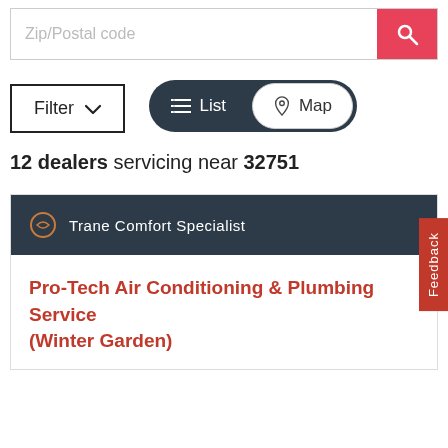[Figure (screenshot): Search input field with placeholder 'Zip/Postal code' and a red search button with magnifying glass icon]
[Figure (screenshot): Filter button with dropdown chevron, outlined in black]
[Figure (screenshot): List/Map toggle: dark pill with List selected, white pill with Map option]
12 dealers servicing near 32751
[Figure (screenshot): Feedback tab on right side, vertical red label reading 'Feedback']
Trane Comfort Specialist
Pro-Tech Air Conditioning & Plumbing Service (Winter Garden)